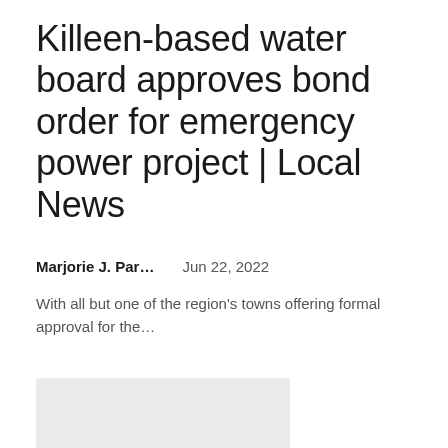Killeen-based water board approves bond order for emergency power project | Local News
Marjorie J. Par...    Jun 22, 2022
With all but one of the region's towns offering formal approval for the...
[Figure (photo): Gray placeholder image rectangle]
Supreme Court Rules Maine's